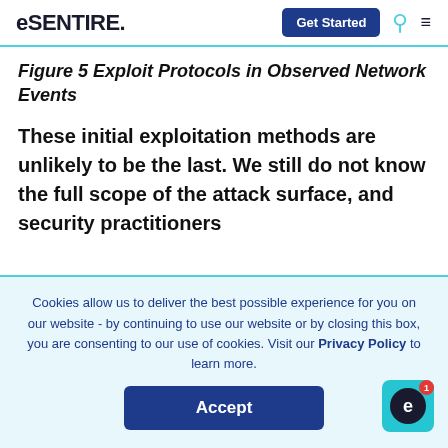eSENTIRE
Figure 5 Exploit Protocols in Observed Network Events
These initial exploitation methods are unlikely to be the last. We still do not know the full scope of the attack surface, and security practitioners
Cookies allow us to deliver the best possible experience for you on our website - by continuing to use our website or by closing this box, you are consenting to our use of cookies. Visit our Privacy Policy to learn more.